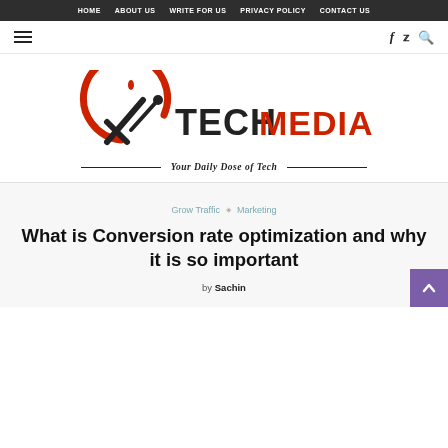HOME  ABOUT US  WRITE FOR US  PRIVACY POLICY  CONTACT US
[Figure (logo): Tech Media Guide logo with stylized checkmark/pencil icon and tagline 'Your Daily Dose of Tech']
Grow Traffic  ◇  Marketing
What is Conversion rate optimization and why it is so important
by Sachin